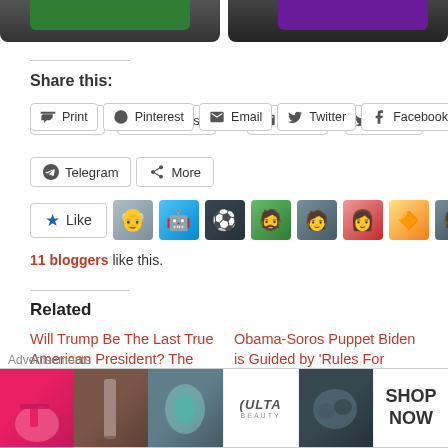[Figure (photo): Partial product images at top of page, two dark containers with green and purple accents]
Share this:
Print
Pinterest
Email
Twitter
Facebook
Telegram
More
[Figure (photo): Like button with star icon and 9 blogger avatar thumbnails]
11 bloggers like this.
Related
Will Trump Be The Last True American President? The
Obama-Soros Puppet Biden is Guided by 'Rules For Radicals'
[Figure (photo): Ulta Beauty advertisement banner at bottom of page with SHOP NOW call to action]